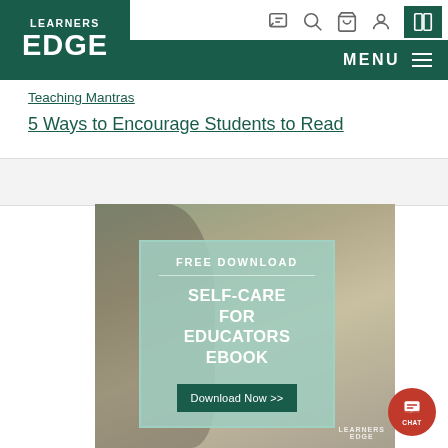[Figure (logo): Learners Edge logo in dark green header]
LEARNERS EDGE — navigation bar with icons and MENU button
Teaching Mantras
5 Ways to Encourage Students to Read
[Figure (photo): Promotional banner: woman with eyes closed, overlaid with teal box reading FREE DOWNLOAD / SELF-CARE FOR EDUCATORS EBOOK / Download Now >>]